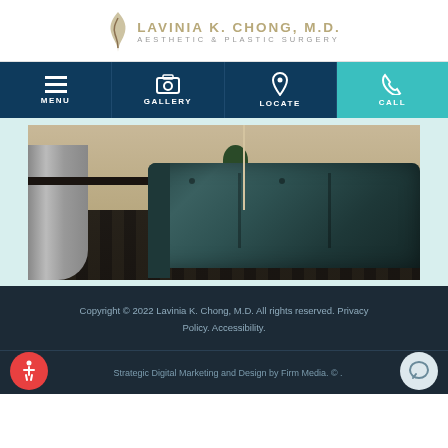LAVINIA K. CHONG, M.D. AESTHETIC & PLASTIC SURGERY
[Figure (screenshot): Navigation bar with four items: MENU (hamburger icon), GALLERY (camera icon), LOCATE (pin icon), CALL (phone icon) on teal background]
[Figure (photo): Interior photo of a medical office waiting room with a dark teal/green leather sofa, patterned carpet, reception desk visible on the left, and a side table with plant in the background]
Copyright © 2022 Lavinia K. Chong, M.D. All rights reserved. Privacy Policy. Accessibility.
Strategic Digital Marketing and Design by Firm Media. © .